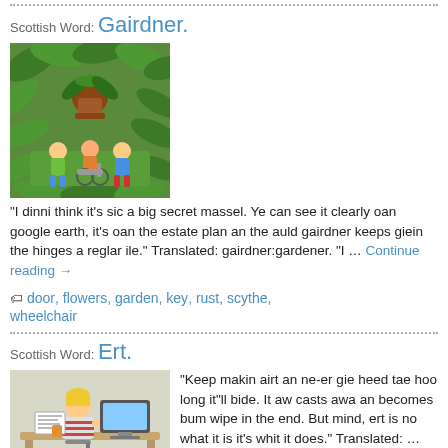Scottish Word: Gairdner.
[Figure (illustration): Cartoon illustration of children playing in a lush garden with large leaves and plants, one child in a wheelchair]
“I dinni think it’s sic a big secret massel. Ye can see it clearly oan google earth, it’s oan the estate plan an the auld gairdner keeps giein the hinges a reglar ile.” Translated: gairdner:gardener. “I … Continue reading →
door, flowers, garden, key, rust, scythe,
wheelchair
Scottish Word: Ert.
[Figure (illustration): Cartoon illustration of a person in striped shirt sitting at a desk with papers and art supplies]
“Keep makin airt an ne-er gie heed tae hoo long it”ll bide. It aw casts awa an becomes bum wipe in the end. But mind, ert is no what it is it’s whit it does.” Translated: … Continue